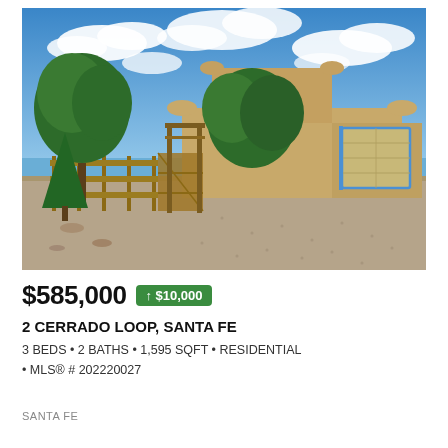[Figure (photo): Exterior photo of a Santa Fe style adobe home with a gravel driveway, wooden fence with gate, trees, and a blue-trimmed garage door under a partly cloudy blue sky.]
$585,000 ↑ $10,000
2 CERRADO LOOP, SANTA FE
3 BEDS • 2 BATHS • 1,595 SQFT • RESIDENTIAL • MLS® # 202220027
SANTA FE